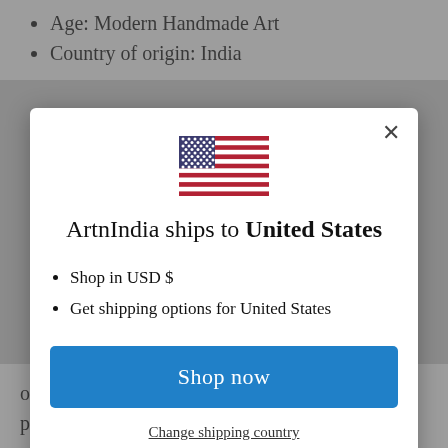Age: Modern Handmade Art
Country of origin: India
[Figure (illustration): US flag icon centered in modal dialog]
ArtnIndia ships to United States
Shop in USD $
Get shipping options for United States
Shop now
Change shipping country
out of the Mughal painting, though this was patronized mostly by the Rajput kings who ruled